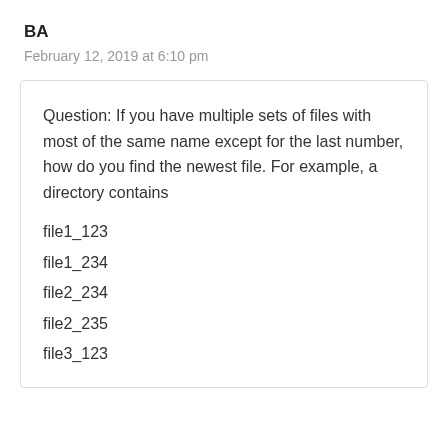BA
February 12, 2019 at 6:10 pm
Question: If you have multiple sets of files with most of the same name except for the last number, how do you find the newest file. For example, a directory contains
file1_123
file1_234
file2_234
file2_235
file3_123